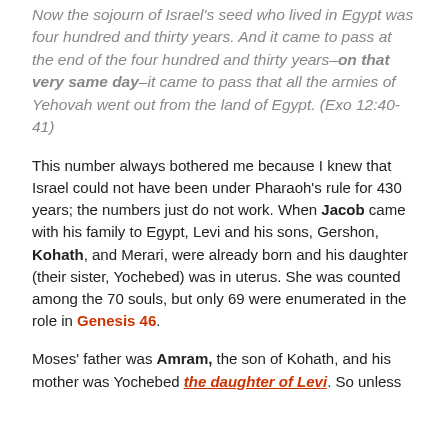Now the sojourn of Israel's seed who lived in Egypt was four hundred and thirty years. And it came to pass at the end of the four hundred and thirty years–on that very same day–it came to pass that all the armies of Yehovah went out from the land of Egypt. (Exo 12:40-41)
This number always bothered me because I knew that Israel could not have been under Pharaoh's rule for 430 years; the numbers just do not work. When Jacob came with his family to Egypt, Levi and his sons, Gershon, Kohath, and Merari, were already born and his daughter (their sister, Yochebed) was in uterus. She was counted among the 70 souls, but only 69 were enumerated in the role in Genesis 46.
Moses' father was Amram, the son of Kohath, and his mother was Yochebed the daughter of Levi. So unless...